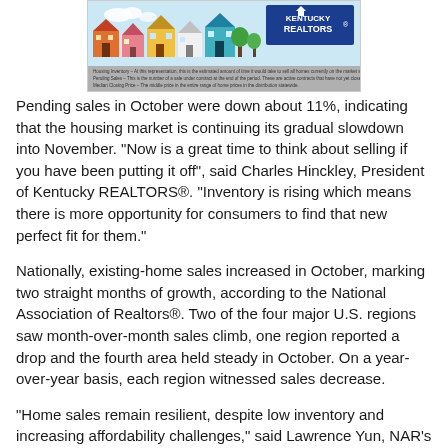[Figure (illustration): Kentucky REALTORS banner with colorful illustrated houses and the Kentucky REALTORS logo. Below the illustration is a gray bar with small text defining Housing Inventory, Pending Sales, and Median Closing Price.]
Pending sales in October were down about 11%, indicating that the housing market is continuing its gradual slowdown into November. "Now is a great time to think about selling if you have been putting it off", said Charles Hinckley, President of Kentucky REALTORS®. "Inventory is rising which means there is more opportunity for consumers to find that new perfect fit for them."
Nationally, existing-home sales increased in October, marking two straight months of growth, according to the National Association of Realtors®. Two of the four major U.S. regions saw month-over-month sales climb, one region reported a drop and the fourth area held steady in October. On a year-over-year basis, each region witnessed sales decrease.
"Home sales remain resilient, despite low inventory and increasing affordability challenges," said Lawrence Yun, NAR's chief economist. "Inflationary pressures, such as